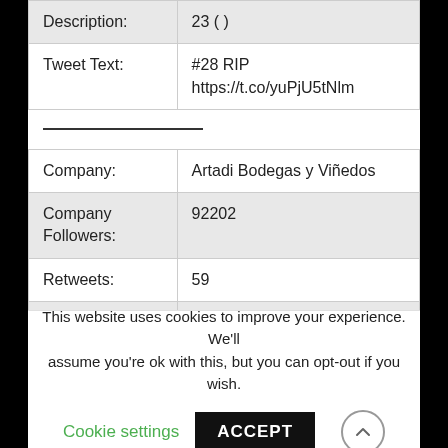| Field | Value |
| --- | --- |
| Description: | 23 ( ) |
| Tweet Text: | #28 RIP
https://t.co/yuPjU5tNlm |
|  | ---divider--- |
| Company: | Artadi Bodegas y Viñedos |
| Company Followers: | 92202 |
| Retweets: | 59 |
| Description: | Diputada de @JuntsXCat. Regidora i presidenta del Grup Municipal de @JuntsxCatBCN a lAjuntament de Barcelona. Arribaré allà on @quimforn no |
This website uses cookies to improve your experience. We'll assume you're ok with this, but you can opt-out if you wish.
Cookie settings | ACCEPT